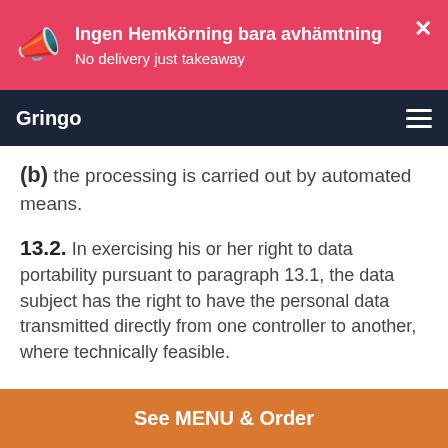Ingen Hemkörning bara avhämtning
No delivery just takeaway
Gringo
(b) the processing is carried out by automated means.
13.2. In exercising his or her right to data portability pursuant to paragraph 13.1, the data subject has the right to have the personal data transmitted directly from one controller to another, where technically feasible.
13.3. The exercise of the right referred to in paragraph 13.1 of the present Article is without prejudice to Article 17. That right shall not apply to processing necessary for the performance of a task carried out in the public interest or in
See MENU & Order